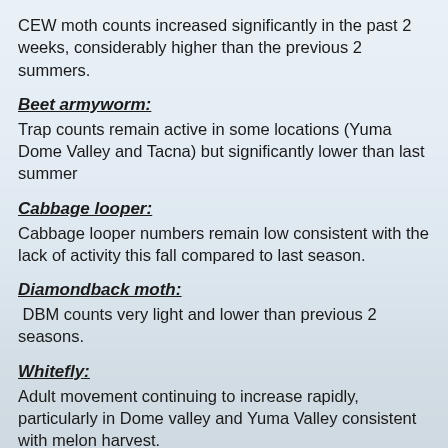CEW moth counts increased significantly in the past 2 weeks, considerably higher than the previous 2 summers.
Beet armyworm:
Trap counts remain active in some locations (Yuma Dome Valley and Tacna) but significantly lower than last summer
Cabbage looper:
Cabbage looper numbers remain low consistent with the lack of activity this fall compared to last season.
Diamondback moth:
DBM counts very light and lower than previous 2 seasons.
Whitefly:
Adult movement continuing to increase rapidly, particularly in Dome valley and Yuma Valley consistent with melon harvest.